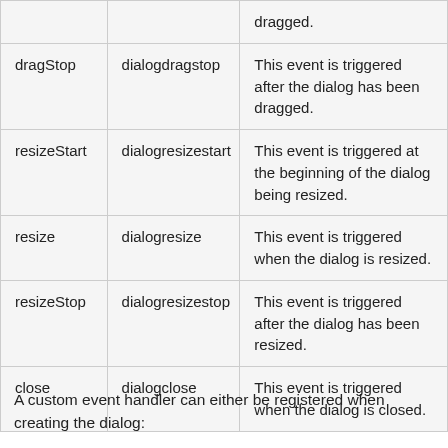|  |  | dragged. |
| dragStop | dialogdragstop | This event is triggered after the dialog has been dragged. |
| resizeStart | dialogresizestart | This event is triggered at the beginning of the dialog being resized. |
| resize | dialogresize | This event is triggered when the dialog is resized. |
| resizeStop | dialogresizestop | This event is triggered after the dialog has been resized. |
| close | dialogclose | This event is triggered when the dialog is closed. |
A custom event handler can either be registered when creating the dialog: